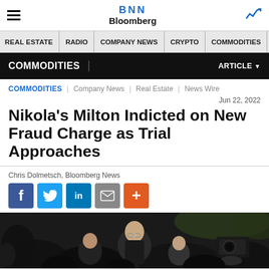BNN Bloomberg
REAL ESTATE | RADIO | COMPANY NEWS | CRYPTO | COMMODITIES | CANN
COMMODITIES | ARTICLE
COMMODITIES | Company News | Real Estate | News Wire
Jun 22, 2022
Nikola's Milton Indicted on New Fraud Charge as Trial Approaches
Chris Dolmetsch, Bloomberg News
[Figure (photo): Outdoor photo of a man in dark clothing surrounded by people, appears to be at a public event or press gathering with cameras visible.]